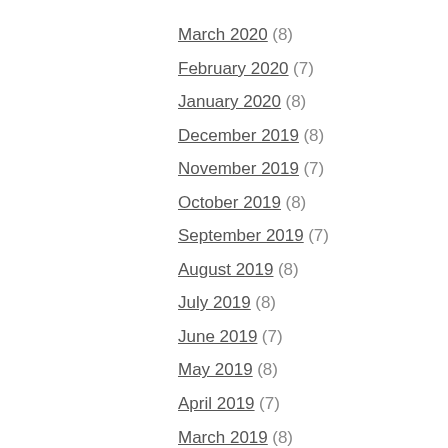March 2020 (8)
February 2020 (7)
January 2020 (8)
December 2019 (8)
November 2019 (7)
October 2019 (8)
September 2019 (7)
August 2019 (8)
July 2019 (8)
June 2019 (7)
May 2019 (8)
April 2019 (7)
March 2019 (8)
February 2019 (7)